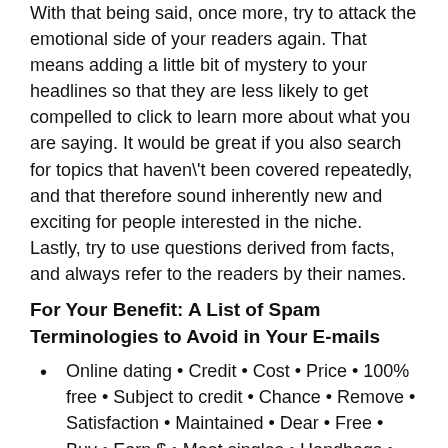With that being said, once more, try to attack the emotional side of your readers again. That means adding a little bit of mystery to your headlines so that they are less likely to get compelled to click to learn more about what you are saying. It would be great if you also search for topics that haven\'t been covered repeatedly, and that therefore sound inherently new and exciting for people interested in the niche.
Lastly, try to use questions derived from facts, and always refer to the readers by their names.
For Your Benefit: A List of Spam Terminologies to Avoid in Your E-mails
Online dating • Credit • Cost • Price • 100% free • Subject to credit • Chance • Remove • Satisfaction • Maintained • Dear • Free • Buy • Earn $ • Meet singles • Handbags • Money making • Viagra • Opportunity • While you sleep • Work from home •